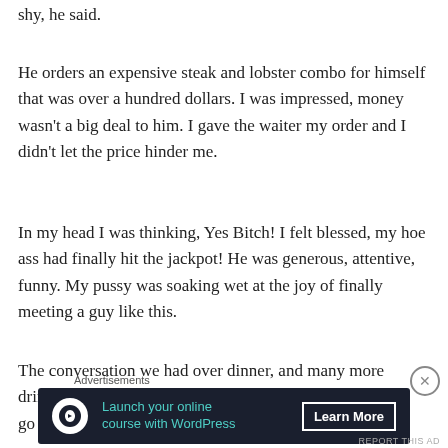shy, he said.
He orders an expensive steak and lobster combo for himself that was over a hundred dollars. I was impressed, money wasn't a big deal to him. I gave the waiter my order and I didn't let the price hinder me.
In my head I was thinking, Yes Bitch! I felt blessed, my hoe ass had finally hit the jackpot! He was generous, attentive, funny. My pussy was soaking wet at the joy of finally meeting a guy like this.
The conversation we had over dinner, and many more drinks, was entertaining. After dinner I excused myself to go freshen up in the restroom. I looked in the mirror and
[Figure (infographic): Advertisement banner: 'Launch your online course with WordPress' with Learn More button on dark background]